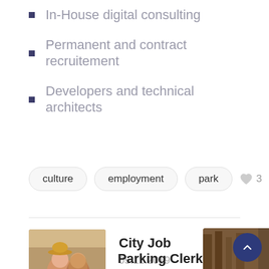In-House digital consulting
Permanent and contract recruitement
Developers and technical architects
culture   employment   park   ♥ 3
[Figure (photo): Two people smiling, one wearing a straw hat, outdoor setting]
City Job
05.11.2019
Parking Clerk